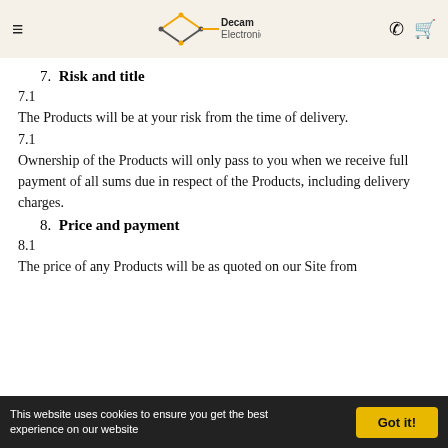Decam Electronics — site header with hamburger menu, logo, phone and cart icons
7.  Risk and title
7.1
The Products will be at your risk from the time of delivery.
7.1
Ownership of the Products will only pass to you when we receive full payment of all sums due in respect of the Products, including delivery charges.
8.  Price and payment
8.1
The price of any Products will be as quoted on our Site from
This website uses cookies to ensure you get the best experience on our website   Got it!